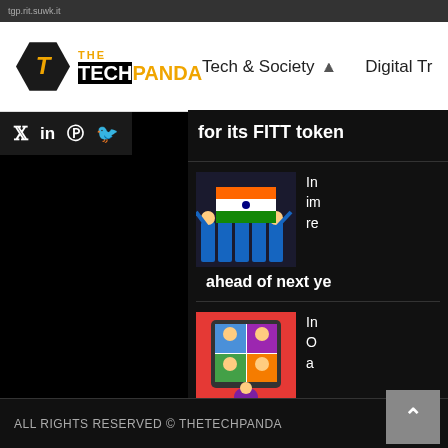THE TECH PANDA | Tech & Society | Digital Tr...
for its FITT token
[Figure (photo): Group of people in blue uniforms holding an Indian flag, celebrating at a tech/esports event]
In... im... re... ahead of next ye...
[Figure (illustration): Illustration of hands holding a tablet showing a video call with multiple participants]
In... O... a...
ALL RIGHTS RESERVED © THETECHPANDA